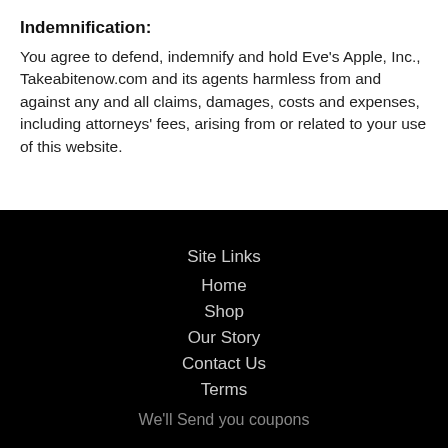Indemnification:
You agree to defend, indemnify and hold Eve's Apple, Inc., Takeabitenow.com and its agents harmless from and against any and all claims, damages, costs and expenses, including attorneys' fees, arising from or related to your use of this website.
Site Links
Home
Shop
Our Story
Contact Us
Terms
We'll Send you coupons